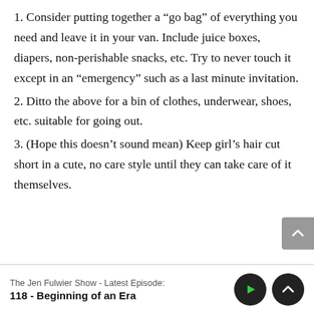1. Consider putting together a “go bag” of everything you need and leave it in your van. Include juice boxes, diapers, non-perishable snacks, etc. Try to never touch it except in an “emergency” such as a last minute invitation.
2. Ditto the above for a bin of clothes, underwear, shoes, etc. suitable for going out.
3. (Hope this doesn’t sound mean) Keep girl’s hair cut short in a cute, no care style until they can take care of it themselves.
The Jen Fulwiler Show - Latest Episode:
118 - Beginning of an Era